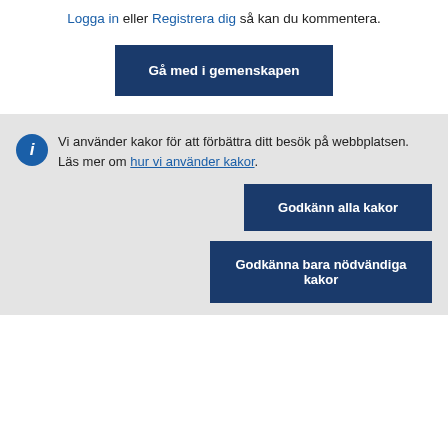users have already commented on this article.
Logga in eller Registrera dig så kan du kommentera.
Gå med i gemenskapen
Vi använder kakor för att förbättra ditt besök på webbplatsen. Läs mer om hur vi använder kakor.
Godkänn alla kakor
Godkänna bara nödvändiga kakor